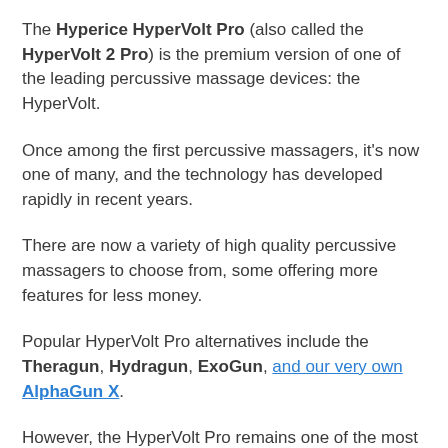The Hyperice HyperVolt Pro (also called the HyperVolt 2 Pro) is the premium version of one of the leading percussive massage devices: the HyperVolt.
Once among the first percussive massagers, it's now one of many, and the technology has developed rapidly in recent years.
There are now a variety of high quality percussive massagers to choose from, some offering more features for less money.
Popular HyperVolt Pro alternatives include the Theragun, Hydragun, ExoGun, and our very own AlphaGun X.
However, the HyperVolt Pro remains one of the most popular and expensive devices - so it's worth looking at it in detail before exploring the alternatives.